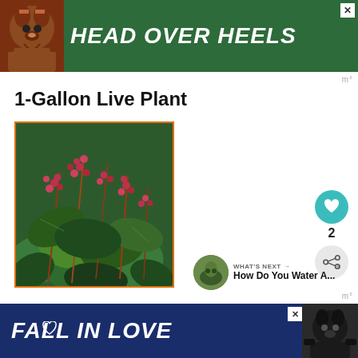[Figure (other): Advertisement banner: green background with dog illustration and text HEAD OVER HEELS]
1-Gallon Live Plant
[Figure (photo): Photo of a live plant with pink/red drooping flowers on tall stems and large dark green leaves, bordered with orange frame]
[Figure (other): Heart/like button (teal circle with heart icon) with count of 2, and share button below]
WHAT'S NEXT → How Do You Water A...
[Figure (other): Advertisement banner: dark blue background with text FALL IN LOVE and dog image]